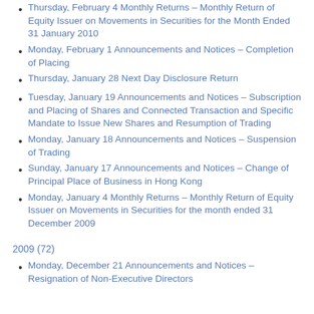Thursday, February 4 Monthly Returns – Monthly Return of Equity Issuer on Movements in Securities for the Month Ended 31 January 2010
Monday, February 1 Announcements and Notices – Completion of Placing
Thursday, January 28 Next Day Disclosure Return
Tuesday, January 19 Announcements and Notices – Subscription and Placing of Shares and Connected Transaction and Specific Mandate to Issue New Shares and Resumption of Trading
Monday, January 18 Announcements and Notices – Suspension of Trading
Sunday, January 17 Announcements and Notices – Change of Principal Place of Business in Hong Kong
Monday, January 4 Monthly Returns – Monthly Return of Equity Issuer on Movements in Securities for the month ended 31 December 2009
2009 (72)
Monday, December 21 Announcements and Notices – Resignation of Non-Executive Directors